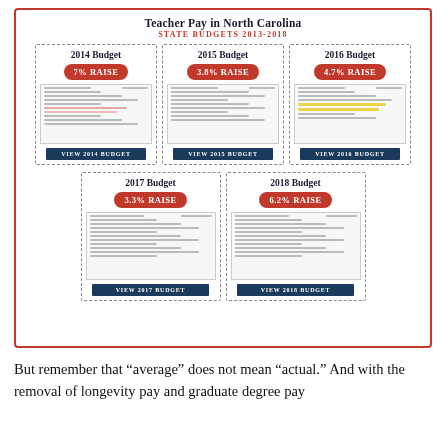[Figure (infographic): Infographic titled 'Teacher Pay in North Carolina – State Budgets 2013-2018' showing 5 budget cards for years 2014-2018 with percentage raises: 2014 Budget 7% RAISE, 2015 Budget 3.8% RAISE, 2016 Budget 4.7% RAISE, 2017 Budget 3.3% RAISE, 2018 Budget 6.2% RAISE, each with a button labeled VIEW [YEAR] BUDGET]
But remember that “average” does not mean “actual.” And with the removal of longevity pay and graduate degree pay